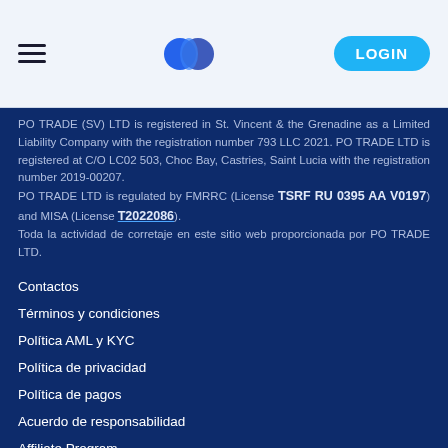LOGIN
PO TRADE (SV) LTD is registered in St. Vincent & the Grenadine as a Limited Liability Company with the registration number 793 LLC 2021. PO TRADE LTD is registered at C/O LC02 503, Choc Bay, Castries, Saint Lucia with the registration number 2019-00207. PO TRADE LTD is regulated by FMRRC (License TSRF RU 0395 AA V0197) and MISA (License T2022086). Toda la actividad de corretaje en este sitio web proporcionada por PO TRADE LTD.
Contactos
Términos y condiciones
Política AML y KYC
Política de privacidad
Política de pagos
Acuerdo de responsabilidad
Affiliate Program